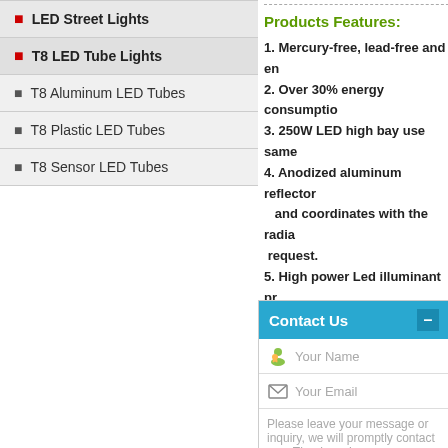LED Street Lights
T8 LED Tube Lights
T8 Aluminum LED Tubes
T8 Plastic LED Tubes
T8 Sensor LED Tubes
Products Features:
1. Mercury-free, lead-free and en
2. Over 30% energy consumptio
3. 250W LED high bay use same
4. Anodized aluminum reflector and coordinates with the radia request.
5. High power Led illuminant pr
Contact Us
Your Name
Your Email
Please leave your message or inquiry, we will promptly contact you. Thank you!
Send